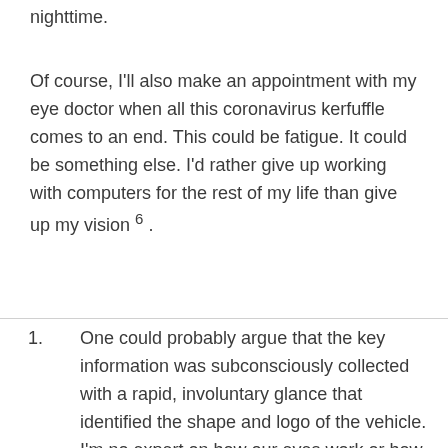nighttime.
Of course, I'll also make an appointment with my eye doctor when all this coronavirus kerfuffle comes to an end. This could be fatigue. It could be something else. I'd rather give up working with computers for the rest of my life than give up my vision 6 .
One could probably argue that the key information was subconsciously collected with a rapid, involuntary glance that identified the shape and logo of the vehicle. I'm no expert on how our eyes work or how our brain translates photons into a visual expression of the universe we